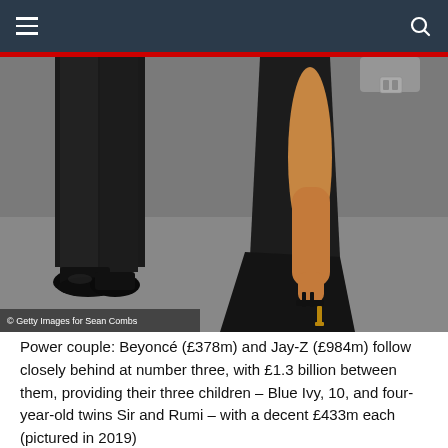[Figure (photo): Navigation bar with hamburger menu icon on the left and search icon on the right, dark blue-grey background with a red accent bar below]
[Figure (photo): Photograph showing the lower bodies/legs and feet of a man in a dark suit with black patent dress shoes and a woman in a black gown with strappy heeled sandals, on a grey floor. Photo credit: © Getty Images for Sean Combs]
© Getty Images for Sean Combs
Power couple: Beyoncé (£378m) and Jay-Z (£984m) follow closely behind at number three, with £1.3 billion between them, providing their three children – Blue Ivy, 10, and four-year-old twins Sir and Rumi – with a decent £433m each (pictured in 2019)